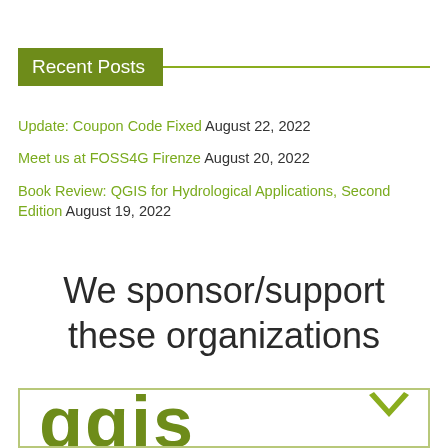Recent Posts
Update: Coupon Code Fixed August 22, 2022
Meet us at FOSS4G Firenze August 20, 2022
Book Review: QGIS for Hydrological Applications, Second Edition August 19, 2022
We sponsor/support these organizations
[Figure (logo): QGIS logo shown partially at bottom of page inside a bordered box]